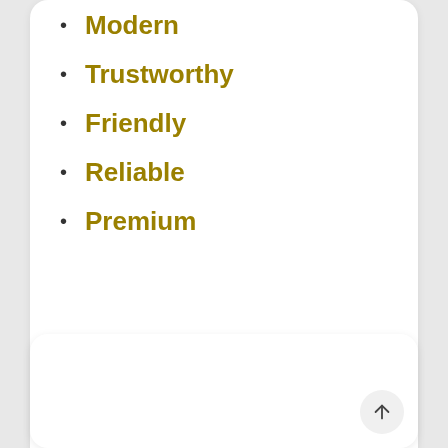Modern
Trustworthy
Friendly
Reliable
Premium